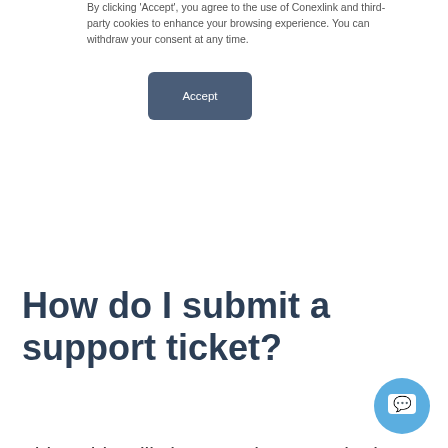By clicking 'Accept', you agree to the use of Conexlink and third-party cookies to enhance your browsing experience. You can withdraw your consent at any time.
[Figure (other): Accept button — a dark blue-grey rounded rectangle button with white text 'Accept']
How do I submit a support ticket?
This guide will show you how to submit a support ticket.
[Figure (other): Light blue circular chat bubble widget icon in bottom-right corner]